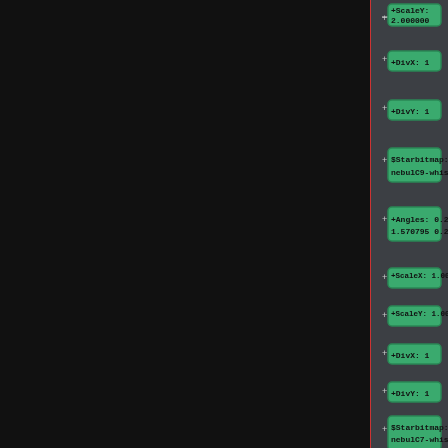[Figure (screenshot): A dark-themed node graph or parameter editor UI. Left ~80% of the image is a near-black panel separated by a thin red vertical line. On the right side, a column of green rounded-rectangle nodes is displayed on a dark gray background, each connected with a '+' connector symbol. Nodes listed top to bottom: '+ScaleY: 2.000000', '+DivX: 1', '+DivY: 1', '$Starbitmap: nebulC9-whisp', '+Angles: 0.261799 1.570795 0.296706', '+ScaleX: 1.000000', '+ScaleY: 1.000000', '+DivX: 1', '+DivY: 1', '$Starbitmap: nebulC7-whisp', '+Angles: 0.349066 0.000000 0.034907', '+ScaleX: 3.000000']